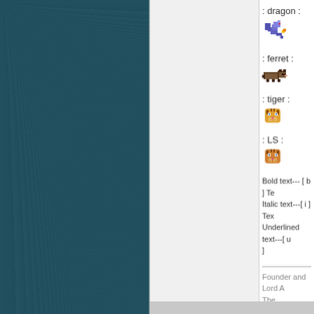[Figure (screenshot): Dark teal textured background panel on the left side of the page]
: dragon :
: ferret :
: tiger :
: LS :
Bold text--- [ b ] Te
Italic text---[ i ] Tex
Underlined text---[ u
]
Founder and Lord A
The Legendary Swa

Go For It.